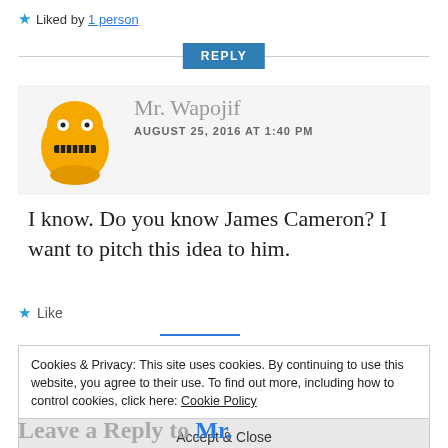★ Liked by 1 person
REPLY
[Figure (illustration): Yellow cartoon avatar with stitched mouth expression]
Mr. Wapojif
AUGUST 25, 2016 AT 1:40 PM
I know. Do you know James Cameron? I want to pitch this idea to him.
★ Like
Cookies & Privacy: This site uses cookies. By continuing to use this website, you agree to their use. To find out more, including how to control cookies, click here: Cookie Policy
Accept & Close
Leave a Reply to Mr.